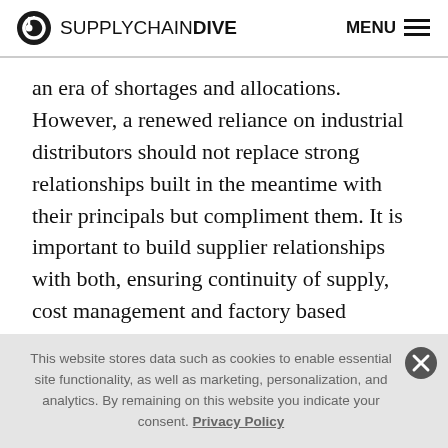SUPPLYCHAINDIVE MENU
an era of shortages and allocations. However, a renewed reliance on industrial distributors should not replace strong relationships built in the meantime with their principals but compliment them. It is important to build supplier relationships with both, ensuring continuity of supply, cost management and factory based technical support.
Industrial distributors have a strong role to play during
This website stores data such as cookies to enable essential site functionality, as well as marketing, personalization, and analytics. By remaining on this website you indicate your consent. Privacy Policy